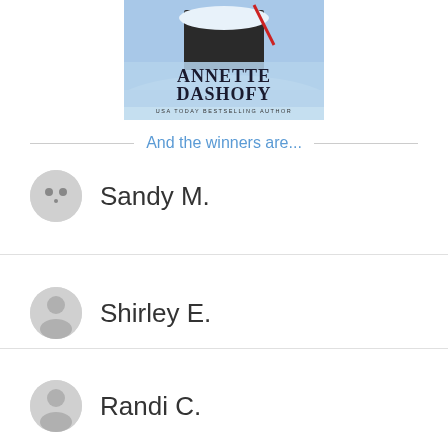[Figure (illustration): Book cover for Annette Dashofy, USA Today Bestselling Author, showing a winter/snow scene with dark figures]
And the winners are...
Sandy M.
Shirley E.
Randi C.